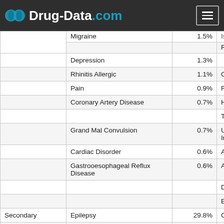Drug-Data.com
| Category | Condition | % | Side Effect |
| --- | --- | --- | --- |
|  | Migraine | 1.5% | Issue |
|  |  |  | Road Traffic Accident |
|  | Depression | 1.3% |  |
|  | Rhinitis Allergic | 1.1% | Overdose |
|  | Pain | 0.9% | Fall |
|  | Coronary Artery Disease | 0.7% | Headache |
|  |  |  | Trisomy 21 |
|  | Grand Mal Convulsion | 0.7% | Upper Respiratory Tract Infection |
|  | Cardiac Disorder | 0.6% | Abortion Spontaneous |
|  | Gastrooesophageal Reflux Disease | 0.6% | Alopecia |
|  |  |  | Dyspepsia |
|  |  |  | Eye Operation |
| Secondary | Epilepsy | 29.8% | Convulsion |
|  | Convulsion | 23.3% | Pregnancy |